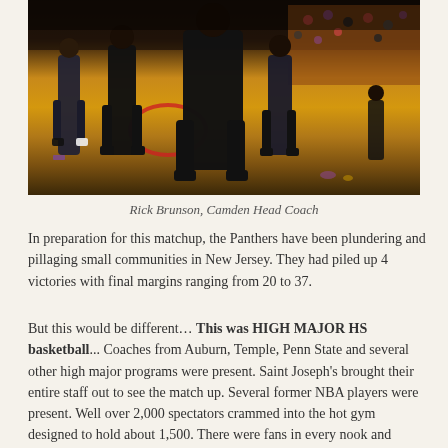[Figure (photo): Basketball court scene with players and coaches in black uniforms, spectators in bleachers visible in background, hardwood floor with red markings]
Rick Brunson, Camden Head Coach
In preparation for this matchup, the Panthers have been plundering and pillaging small communities in New Jersey. They had piled up 4 victories with final margins ranging from 20 to 37.
But this would be different… This was HIGH MAJOR HS basketball... Coaches from Auburn, Temple, Penn State and several other high major programs were present. Saint Joseph's brought their entire staff out to see the match up. Several former NBA players were present. Well over 2,000 spectators crammed into the hot gym designed to hold about 1,500. There were fans in every nook and cranny of the space not used for the actual contest itself. Jeremy Treatman, once again, put together a Play-by-Play Classics event that hoop heads could not resist.